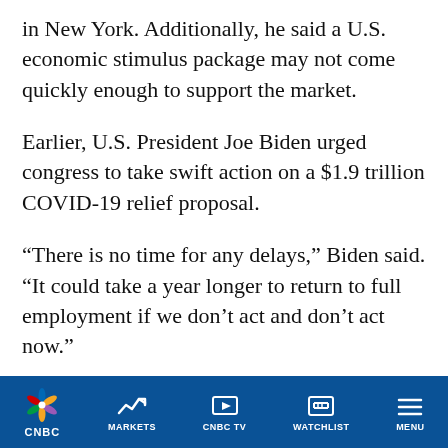in New York. Additionally, he said a U.S. economic stimulus package may not come quickly enough to support the market.
Earlier, U.S. President Joe Biden urged congress to take swift action on a $1.9 trillion COVID-19 relief proposal.
“There is no time for any delays,” Biden said. “It could take a year longer to return to full employment if we don’t act and don’t act now.”
Global benchmark Brent crude futures gained 0.63% to settle at $55.88 per barrel. The
CNBC | MARKETS | CNBC TV | WATCHLIST | MENU